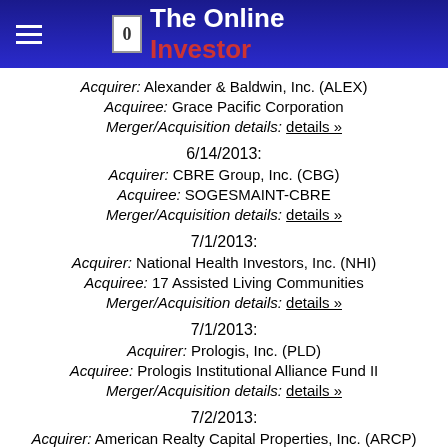The Online Investor
Acquirer: Alexander & Baldwin, Inc. (ALEX)
Acquiree: Grace Pacific Corporation
Merger/Acquisition details: details »
6/14/2013:
Acquirer: CBRE Group, Inc. (CBG)
Acquiree: SOGESMAINT-CBRE
Merger/Acquisition details: details »
7/1/2013:
Acquirer: National Health Investors, Inc. (NHI)
Acquiree: 17 Assisted Living Communities
Merger/Acquisition details: details »
7/1/2013:
Acquirer: Prologis, Inc. (PLD)
Acquiree: Prologis Institutional Alliance Fund II
Merger/Acquisition details: details »
7/2/2013:
Acquirer: American Realty Capital Properties, Inc. (ARCP)